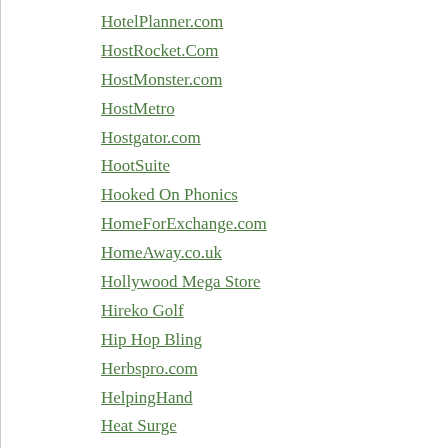HotelPlanner.com
HostRocket.Com
HostMonster.com
HostMetro
Hostgator.com
HootSuite
Hooked On Phonics
HomeForExchange.com
HomeAway.co.uk
Hollywood Mega Store
Hireko Golf
Hip Hop Bling
Herbspro.com
HelpingHand
Heat Surge
HealthCheckSystems.com
HBO Store
Hartstrings
Hart Energy